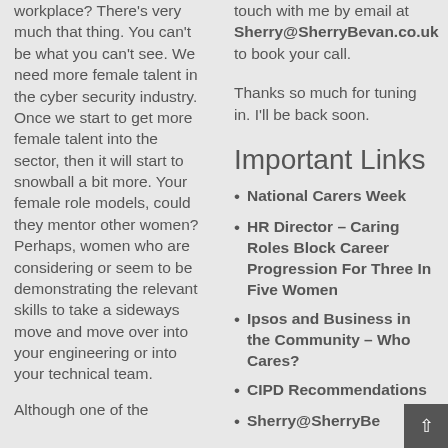workplace? There's very much that thing. You can't be what you can't see. We need more female talent in the cyber security industry. Once we start to get more female talent into the sector, then it will start to snowball a bit more. Your female role models, could they mentor other women? Perhaps, women who are considering or seem to be demonstrating the relevant skills to take a sideways move and move over into your engineering or into your technical team.
Although one of the
touch with me by email at Sherry@SherryBevan.co.uk to book your call.
Thanks so much for tuning in. I'll be back soon.
Important Links
National Carers Week
HR Director – Caring Roles Block Career Progression For Three In Five Women
Ipsos and Business in the Community – Who Cares?
CIPD Recommendations
Sherry@SherryBe...co